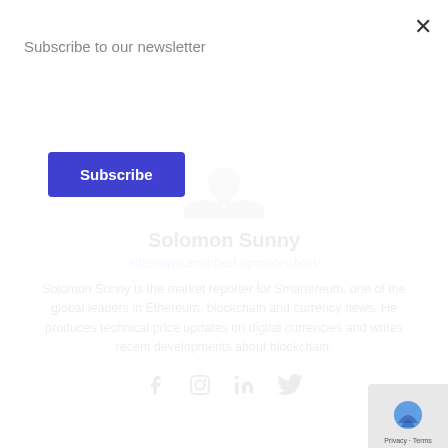Subscribe to our newsletter
Subscribe
[Figure (illustration): Generic user avatar silhouette in gray]
Solomon Sunny
http://www.smarttest.wpmudev.host/
Solomon Sunny is the market reporter for Smartereum, one of the global leaders in Ethereum, blockchain and currency news. He produces technical price updates on digital currencies and writes recent developments about blockchain.
[Figure (infographic): Social media icons: Facebook, Instagram, LinkedIn, Twitter]